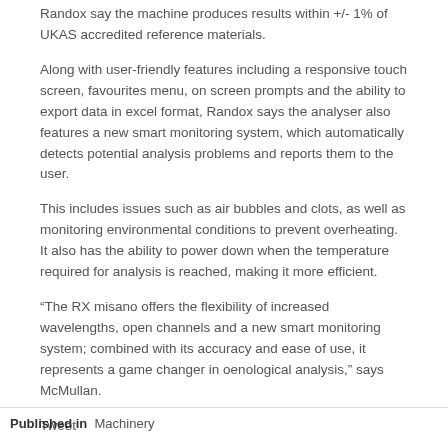Randox say the machine produces results within +/- 1% of UKAS accredited reference materials.
Along with user-friendly features including a responsive touch screen, favourites menu, on screen prompts and the ability to export data in excel format, Randox says the analyser also features a new smart monitoring system, which automatically detects potential analysis problems and reports them to the user.
This includes issues such as air bubbles and clots, as well as monitoring environmental conditions to prevent overheating. It also has the ability to power down when the temperature required for analysis is reached, making it more efficient.
“The RX misano offers the flexibility of increased wavelengths, open channels and a new smart monitoring system; combined with its accuracy and ease of use, it represents a game changer in oenological analysis,” says McMullan.
Tweet
Published in  Machinery